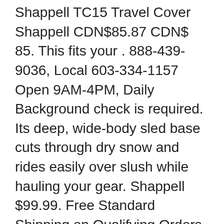Shappell TC15 Travel Cover Shappell CDN$85.87 CDN$ 85. This fits your . 888-439-9036, Local 603-334-1157 Open 9AM-4PM, Daily Background check is required. Its deep, wide-body sled base cuts through dry snow and rides easily over slush while hauling your gear. Shappell $99.99. Free Standard Shipping on Qualifying Orders over $83.00! A KTP team member will confirm purchase via printed or digital receipt and Valid ID shown through vehicle window. (Bikes, Boats & SUPS have a separate marked pickup area). Offer limited to stock on hand, and is not redeemable for cash. Lots of room for two fishermen, three is getting tight but still comfortable, four fishermen can be